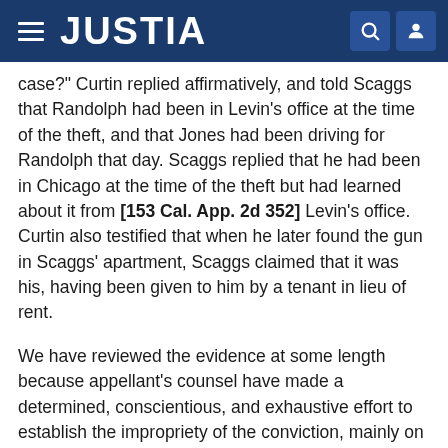JUSTIA
case?" Curtin replied affirmatively, and told Scaggs that Randolph had been in Levin's office at the time of the theft, and that Jones had been driving for Randolph that day. Scaggs replied that he had been in Chicago at the time of the theft but had learned about it from [153 Cal. App. 2d 352] Levin's office. Curtin also testified that when he later found the gun in Scaggs' apartment, Scaggs claimed that it was his, having been given to him by a tenant in lieu of rent.
We have reviewed the evidence at some length because appellant's counsel have made a determined, conscientious, and exhaustive effort to establish the impropriety of the conviction, mainly on the ground that the evidence is insufficient to sustain the conviction. This attack must fail, because the evidence reviewed above establishes all of the essential elements of the